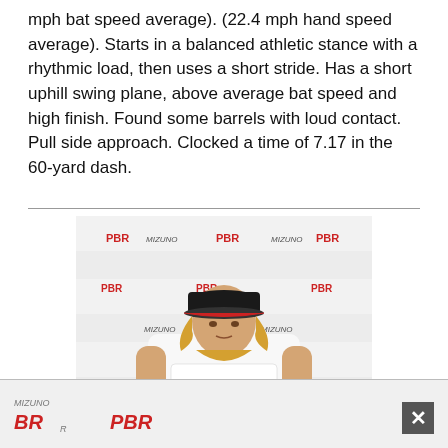mph bat speed average). (22.4 mph hand speed average). Starts in a balanced athletic stance with a rhythmic load, then uses a short stride. Has a short uphill swing plane, above average bat speed and high finish. Found some barrels with loud contact. Pull side approach. Clocked a time of 7.17 in the 60-yard dash.
[Figure (photo): Young baseball player wearing a PBR (Prep Baseball Report) white t-shirt and black cap with red brim, standing in front of a PBR branded backdrop with Mizuno logos. The player has blonde hair.]